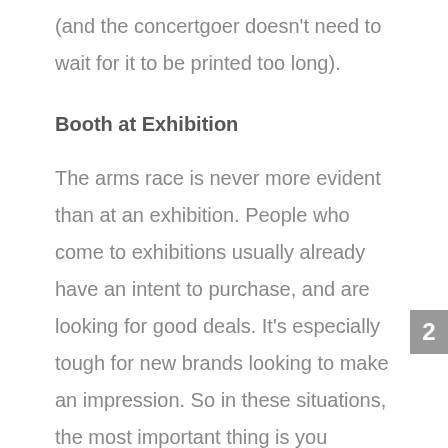(and the concertgoer doesn't need to wait for it to be printed too long).
Booth at Exhibition
The arms race is never more evident than at an exhibition. People who come to exhibitions usually already have an intent to purchase, and are looking for good deals. It's especially tough for new brands looking to make an impression. So in these situations, the most important thing is you